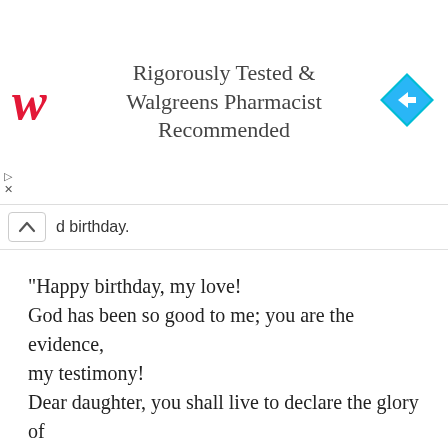[Figure (screenshot): Walgreens advertisement banner: 'Rigorously Tested & Walgreens Pharmacist Recommended' with red italic W logo on left and blue diamond arrow icon on right]
...d birthday.
“Happy birthday, my love! God has been so good to me; you are the evidence, my testimony! Dear daughter, you shall live to declare the glory of God in the land of the living. Cheers!”
Religious Birthday Quotes For Men
“Happy Birthday! “Thanks be to God for his